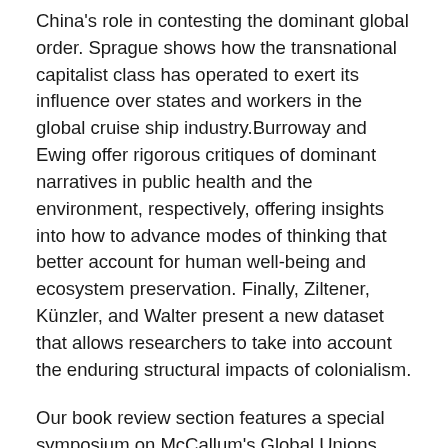China's role in contesting the dominant global order. Sprague shows how the transnational capitalist class has operated to exert its influence over states and workers in the global cruise ship industry.Burroway and Ewing offer rigorous critiques of dominant narratives in public health and the environment, respectively, offering insights into how to advance modes of thinking that better account for human well-being and ecosystem preservation. Finally, Ziltener, Künzler, and Walter present a new dataset that allows researchers to take into account the enduring structural impacts of colonialism.
Our book review section features a special symposium on McCallum's Global Unions, Local Power: The New Spirit of Transnational Labor Organizing.
The Journal of World-Systems Research is available free